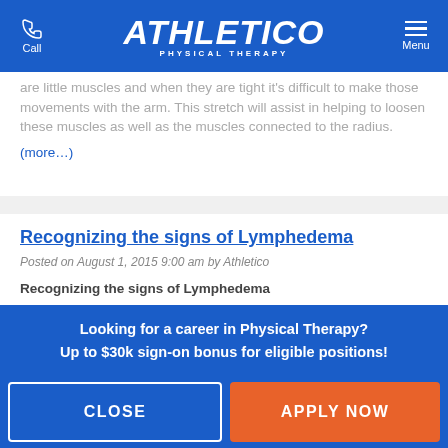Athletico Physical Therapy — Call | Menu
are little muscles and when they are tight it's difficult to make those movements with the arm. This stretch will assist in helping to loosen these muscles as well as the muscles connected to the radius. (more…)
Recognizing the signs of Lymphedema
Posted on August 1, 2015 9:00 am by Athletico
Recognizing the signs of Lymphedema
Are you recovering from a mastectomy or lumpectomy surgery? If so, have you begun to notice some new...
Looking for a career in Physical Therapy?
Up to $30k sign-on bonus for eligible positions!